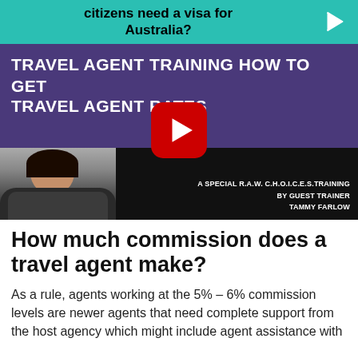citizens need a visa for Australia?
[Figure (screenshot): YouTube video thumbnail for 'Travel Agent Training How To Get Travel Agent Rates', a special R.A.W. C.H.O.I.C.E.S. Training by guest trainer Tammy Farlow. Shows a red YouTube play button over a purple background with white text and a photo of Tammy Farlow.]
How much commission does a travel agent make?
As a rule, agents working at the 5% – 6% commission levels are newer agents that need complete support from the host agency which might include agent assistance with